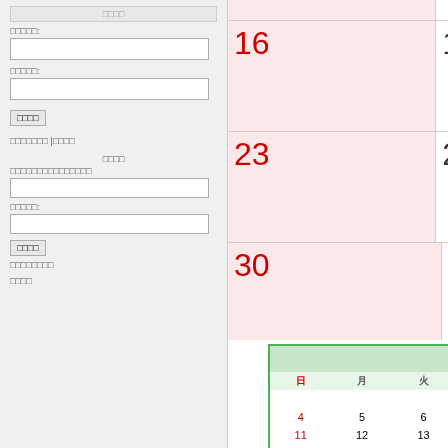[Figure (other): Web calendar application showing days 16-31 of a month (Sunday column highlighted in pink/red), with a mini April 2021 calendar at the bottom left and year/month selectors at bottom right.]
| 日 | 月 | 火 | 水 | 木 | 金 | 土 |
| --- | --- | --- | --- | --- | --- | --- |
|  |  |  |  | 1 | 2 | 3 |
| 4 | 5 | 6 | 7 | 8 | 9 | 10 |
| 11 | 12 | 13 | 14 | 15 | 16 | 17 |
| 18 | 19 | 20 | 21 | 22 | 23 | 24 |